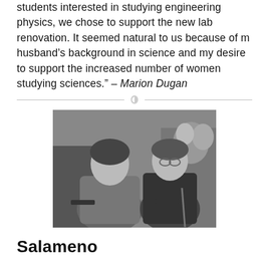students interested in studying engineering physics, we chose to support the new lab renovation. It seemed natural to us because of m husband’s background in science and my desire to support the increased number of women studying sciences.” – Marion Dugan
[Figure (photo): Black and white photograph of two people seated, a woman in a knit sweater on the left and a man in a dark suit with glasses and a cane on the right, with flowers visible in the background.]
Salameno